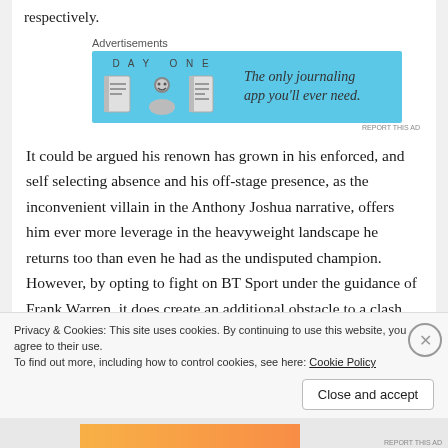respectively.
Advertisements
[Figure (illustration): Day One journaling app advertisement. Light blue background with Day One logo icons and text: 'The only journaling app you'll ever need.']
It could be argued his renown has grown in his enforced, and self selecting absence and his off-stage presence, as the inconvenient villain in the Anthony Joshua narrative, offers him ever more leverage in the heavyweight landscape he returns too than even he had as the undisputed champion. However, by opting to fight on BT Sport under the guidance of Frank Warren, it does create an additional obstacle to a clash with the popular IBF/WBA
Privacy & Cookies: This site uses cookies. By continuing to use this website, you agree to their use.
To find out more, including how to control cookies, see here: Cookie Policy
Close and accept